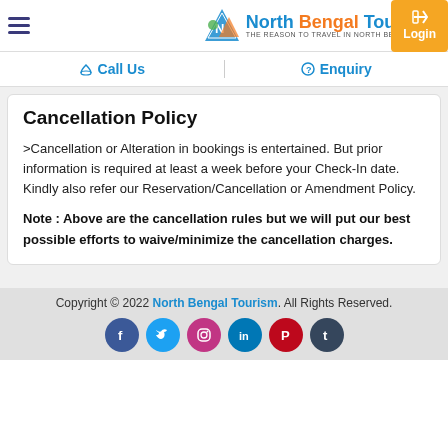North Bengal Tourism - THE REASON TO TRAVEL IN NORTH BENGAL | Login
Call Us | Enquiry
Cancellation Policy
>Cancellation or Alteration in bookings is entertained. But prior information is required at least a week before your Check-In date. Kindly also refer our Reservation/Cancellation or Amendment Policy.
Note : Above are the cancellation rules but we will put our best possible efforts to waive/minimize the cancellation charges.
Copyright © 2022 North Bengal Tourism. All Rights Reserved.